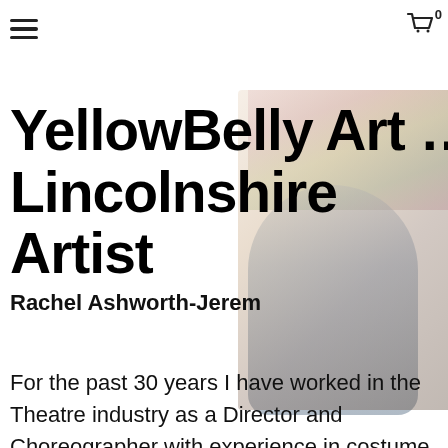≡  [cart] 0
YellowBelly Art …… a Lincolnshire Artist
[Figure (photo): A woman (Rachel Ashworth-Jerem) standing in front of a floral backdrop, wearing a blue jacket. The photo overlays the title text area.]
Rachel Ashworth-Jerem
For the past 30 years I have worked in the Theatre industry as a Director and Choreographer with experience in costume, set and lighting design. Alongside this creative